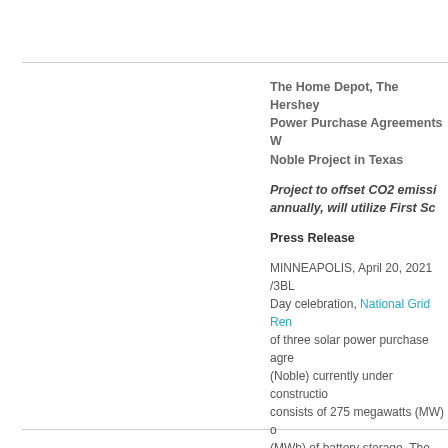The Home Depot, The Hershey Power Purchase Agreements W Noble Project in Texas
Project to offset CO2 emissi annually, will utilize First Sc
Press Release
MINNEAPOLIS, April 20, 2021 /3BL Day celebration, National Grid Ren of three solar power purchase agre (Noble) currently under constructio consists of 275 megawatts (MW) o (MWh) of battery storage. The Hon executed individual 100 MW solar contracted for a 50 MW solar PPA.